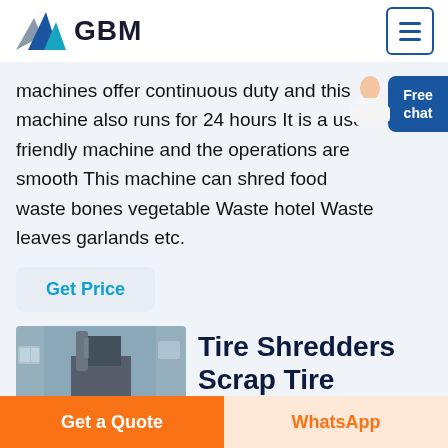GBM
machines offer continuous duty and this machine also runs for 24 hours It is a user friendly machine and the operations are smooth This machine can shred food waste bones vegetable Waste hotel Waste leaves garlands etc.
Get Price
[Figure (photo): Industrial shredder machine in a factory/warehouse setting]
Tire Shredders Scrap Tire
Get a Quote
WhatsApp